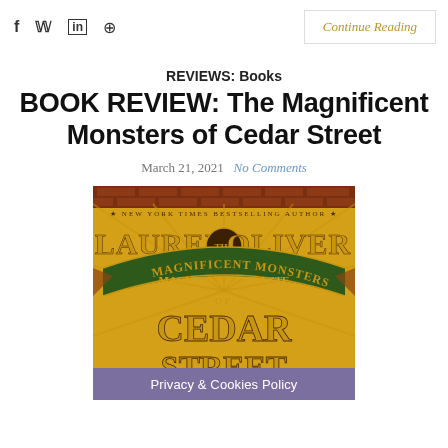f  y  in  ⓟ   Continue Reading
REVIEWS: Books
BOOK REVIEW: The Magnificent Monsters of Cedar Street
March 21, 2021  No Comments
[Figure (photo): Book cover of 'The Magnificent Monsters of Cedar Street' by Lauren Oliver, New York Times Bestselling Author. Ornate vintage-style cover with gold, green and brown typography on a decorative illustrated background.]
Privacy & Cookies Policy